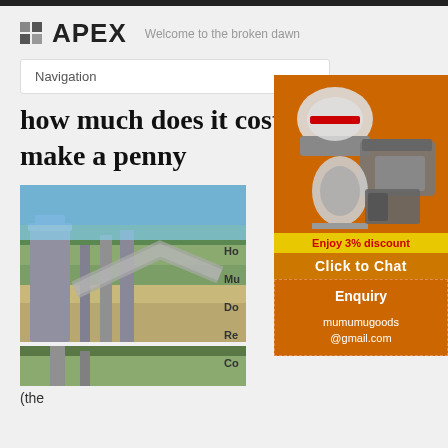APEX — Welcome to the broken dawn
Navigation
how much does it cost to make a penny
[Figure (photo): Industrial mining or cement plant facility with conveyor belts, silos, and green hills in the background]
[Figure (photo): Second industrial facility photo, partially visible]
[Figure (illustration): Advertisement banner showing mining/crushing machinery on orange background with discount offer: Enjoy 3% discount, Click to Chat]
Enquiry
mumumugoods@gmail.com
Ho
Mu
Do
Re
Co
(the